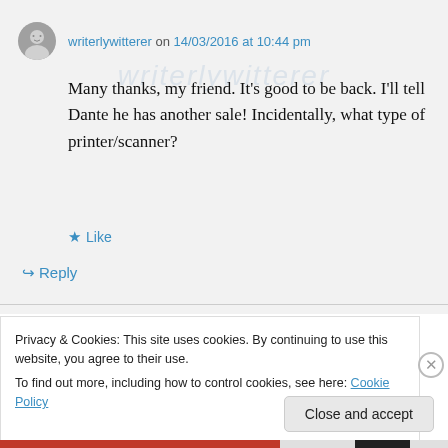writerlywitterer on 14/03/2016 at 10:44 pm
Many thanks, my friend. It's good to be back. I'll tell Dante he has another sale! Incidentally, what type of printer/scanner?
Like
Reply
Privacy & Cookies: This site uses cookies. By continuing to use this website, you agree to their use.
To find out more, including how to control cookies, see here: Cookie Policy
Close and accept